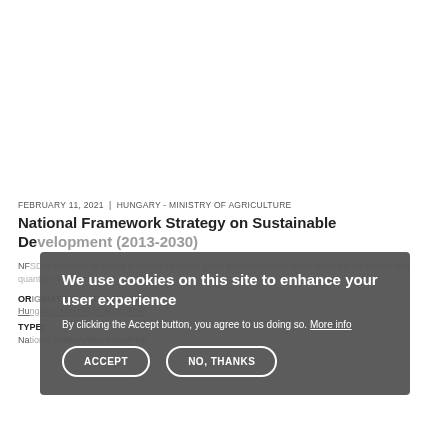FEBRUARY 11, 2021  |  HUNGARY - MINISTRY OF AGRICULTURE
National Framework Strategy on Sustainable Development (2013-2030)
NFSD is intended to define a system of policy goals and means that helps maintain the quality and quantity of our national...
ORIGINATING ORGANIZATION
Hungary - Ministry of Agriculture
TYPE:
National strategy/Roadmap/Plan